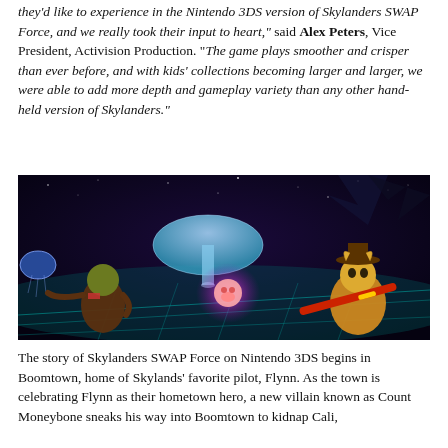they'd like to experience in the Nintendo 3DS version of Skylanders SWAP Force, and we really took their input to heart," said Alex Peters, Vice President, Activision Production. "The game plays smoother and crisper than ever before, and with kids' collections becoming larger and larger, we were able to add more depth and gameplay variety than any other hand-held version of Skylanders."
[Figure (screenshot): Screenshot from Skylanders SWAP Force on Nintendo 3DS showing colorful animated characters fighting in a dark fantasy environment with glowing teal floors, purple magical effects, a large mushroom, and night sky with stars in the background.]
The story of Skylanders SWAP Force on Nintendo 3DS begins in Boomtown, home of Skylands' favorite pilot, Flynn. As the town is celebrating Flynn as their hometown hero, a new villain known as Count Moneybone sneaks his way into Boomtown to kidnap Cali,